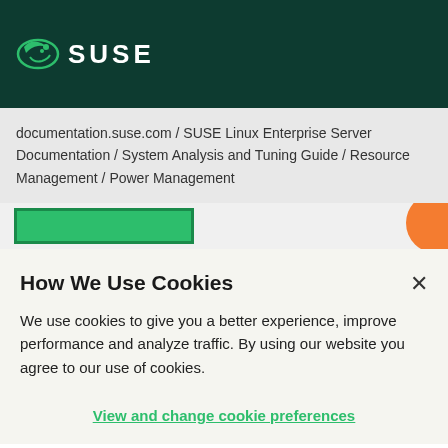SUSE
documentation.suse.com / SUSE Linux Enterprise Server Documentation / System Analysis and Tuning Guide / Resource Management / Power Management
How We Use Cookies
We use cookies to give you a better experience, improve performance and analyze traffic. By using our website you agree to our use of cookies.
View and change cookie preferences